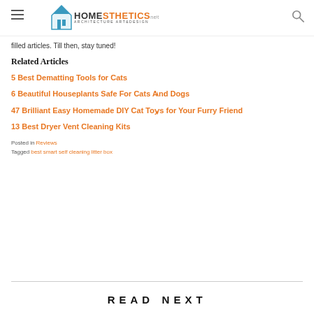Homesthetics — Architecture Art&Design
filled articles. Till then, stay tuned!
Related Articles
5 Best Dematting Tools for Cats
6 Beautiful Houseplants Safe For Cats And Dogs
47 Brilliant Easy Homemade DIY Cat Toys for Your Furry Friend
13 Best Dryer Vent Cleaning Kits
Posted in Reviews
Tagged best smart self cleaning litter box
READ NEXT